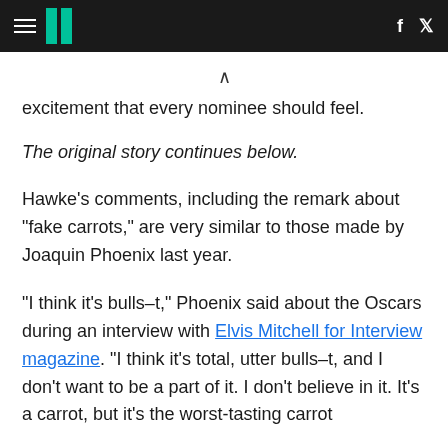HuffPost header with hamburger menu, logo, facebook and twitter icons
excitement that every nominee should feel.
The original story continues below.
Hawke's comments, including the remark about "fake carrots," are very similar to those made by Joaquin Phoenix last year.
"I think it's bulls–t," Phoenix said about the Oscars during an interview with Elvis Mitchell for Interview magazine. "I think it's total, utter bulls–t, and I don't want to be a part of it. I don't believe in it. It's a carrot, but it's the worst-tasting carrot